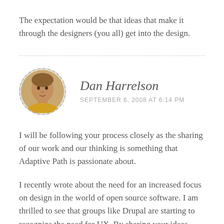The expectation would be that ideas that make it through the designers (you all) get into the design.
[Figure (photo): Circular avatar photo of Dan Harrelson with dashed border]
Dan Harrelson
SEPTEMBER 6, 2008 AT 6:14 PM
I will be following your process closely as the sharing of our work and our thinking is something that Adaptive Path is passionate about.
I recently wrote about the need for an increased focus on design in the world of open source software. I am thrilled to see that groups like Drupal are starting to recognize the need for UX. By sharing your ideas publicly, I can only hope that the rest of the Drupal developer community